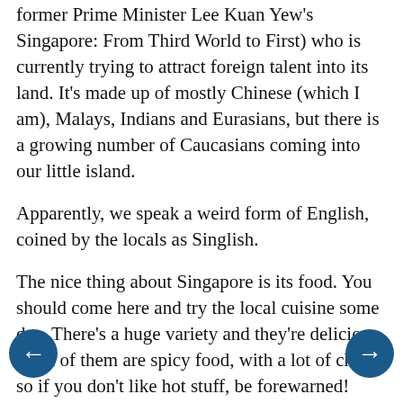former Prime Minister Lee Kuan Yew's Singapore: From Third World to First) who is currently trying to attract foreign talent into its land. It's made up of mostly Chinese (which I am), Malays, Indians and Eurasians, but there is a growing number of Caucasians coming into our little island.
Apparently, we speak a weird form of English, coined by the locals as Singlish.
The nice thing about Singapore is its food. You should come here and try the local cuisine some day. There's a huge variety and they're delicious. Most of them are spicy food, with a lot of chilli, so if you don't like hot stuff, be forewarned!
I'm studying in a local university called the National University of Singapore (NUS). It's